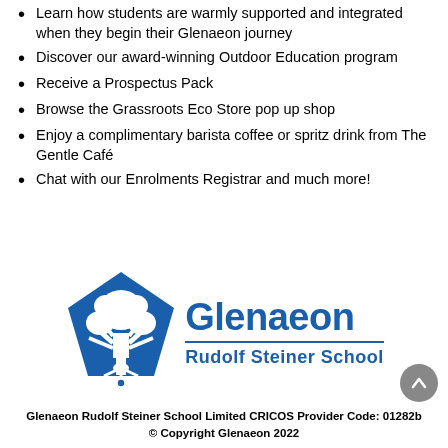Learn how students are warmly supported and integrated when they begin their Glenaeon journey
Discover our award-winning Outdoor Education program
Receive a Prospectus Pack
Browse the Grassroots Eco Store pop up shop
Enjoy a complimentary barista coffee or spritz drink from The Gentle Café
Chat with our Enrolments Registrar and much more!
[Figure (logo): Glenaeon Rudolf Steiner School logo — blue pentagon with tree graphic on the left, 'Glenaeon' in large bold blue text and 'Rudolf Steiner School' in smaller bold blue text on the right, separated by a blue horizontal line]
Glenaeon Rudolf Steiner School Limited CRICOS Provider Code: 01282b
© Copyright Glenaeon 2022